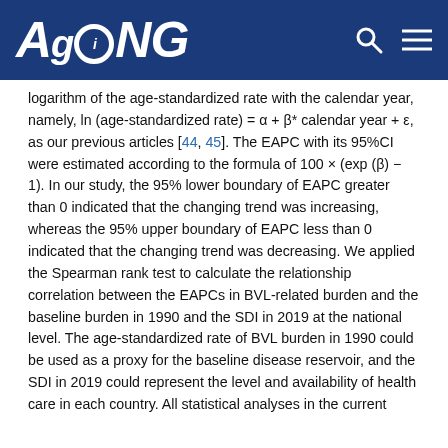AGING
logarithm of the age-standardized rate with the calendar year, namely, ln (age-standardized rate) = α + β* calendar year + ε, as our previous articles [44, 45]. The EAPC with its 95%CI were estimated according to the formula of 100 × (exp (β) − 1). In our study, the 95% lower boundary of EAPC greater than 0 indicated that the changing trend was increasing, whereas the 95% upper boundary of EAPC less than 0 indicated that the changing trend was decreasing. We applied the Spearman rank test to calculate the relationship correlation between the EAPCs in BVL-related burden and the baseline burden in 1990 and the SDI in 2019 at the national level. The age-standardized rate of BVL burden in 1990 could be used as a proxy for the baseline disease reservoir, and the SDI in 2019 could represent the level and availability of health care in each country. All statistical analyses in the current